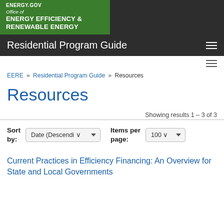ENERGY.GOV
Office of ENERGY EFFICIENCY & RENEWABLE ENERGY
Residential Program Guide
EERE » Residential Program Guide » Resources
Resources
Showing results 1 - 3 of 3
Sort by: Date (Descending)   Items per page: 100
Current Practices in Efficiency Financing: An Overview for State and Local Governments